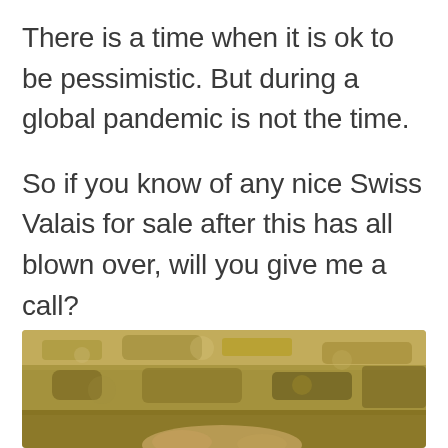There is a time when it is ok to be pessimistic. But during a global pandemic is not the time.
So if you know of any nice Swiss Valais for sale after this has all blown over, will you give me a call?
[Figure (photo): A photo showing a grassy or hay-covered outdoor ground, possibly with an animal partially visible at the bottom, in warm earthy tones.]